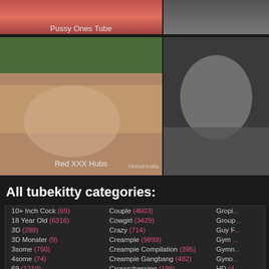[Figure (photo): Thumbnail image top left with label Pussy Ones Tube]
Pussy Ones Tube
[Figure (photo): Thumbnail image top right (partial)]
[Figure (photo): Thumbnail image bottom left with watermark HomoHusba and label Red XXX Hubs]
Red XXX Hubs
[Figure (photo): Thumbnail image bottom right (partial)]
All tubekitty categories:
10+ Inch Cock (69)
18 Year Old (6316)
3D (288)
3D Monster (9)
3some (750)
4some (74)
69 (1210)
Actress (108)
Couple (4603)
Cowgirl (3429)
Crazy (714)
Creampie (9899)
Creampie Compilation (395)
Creampie Gangbang (482)
Crosssdressing (199)
Cuban (116)
Gropi...
Group...
Guy F...
Gym ...
Gymn...
Gyno...
HD (4...
Hair P...